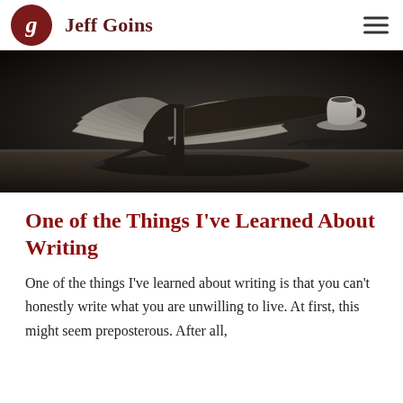Jeff Goins
[Figure (photo): Open book with fanned pages on a dark wooden desk, with a pen and a white coffee cup in the background, dark moody lighting]
One of the Things I've Learned About Writing
One of the things I've learned about writing is that you can't honestly write what you are unwilling to live. At first, this might seem preposterous. After all,